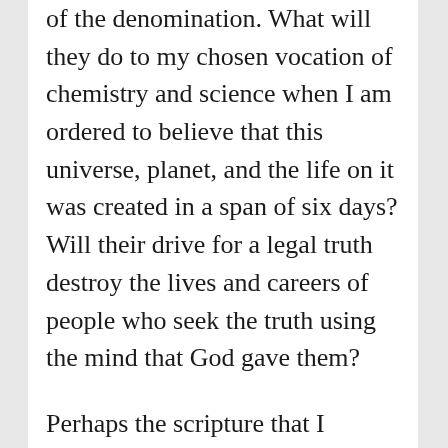of the denomination. What will they do to my chosen vocation of chemistry and science when I am ordered to believe that this universe, planet, and the life on it was created in a span of six days? Will their drive for a legal truth destroy the lives and careers of people who seek the truth using the mind that God gave them?
Perhaps the scripture that I should have used was from last week when Thomas asked Christ where we are headed and Philip asked how would we know when we got there.
I see a society that may not believe as these unknown leaders do but they are not willing to say anything against them. There seems to